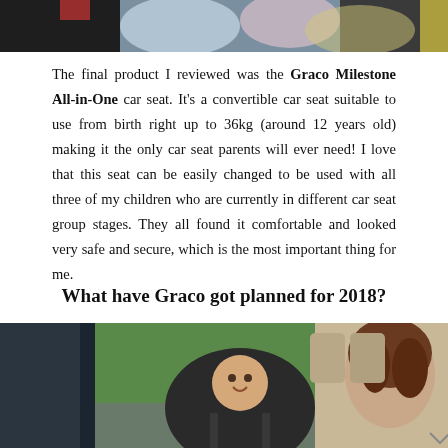[Figure (photo): Top cropped photo showing colorful items, partial view of child-related products]
The final product I reviewed was the Graco Milestone All-in-One car seat. It's a convertible car seat suitable to use from birth right up to 36kg (around 12 years old) making it the only car seat parents will ever need! I love that this seat can be easily changed to be used with all three of my children who are currently in different car seat group stages. They all found it comfortable and looked very safe and secure, which is the most important thing for me.
What have Graco got planned for 2018?
[Figure (photo): Photo of a baby in a rear-facing car seat with a woman looking at the baby from outside the car]